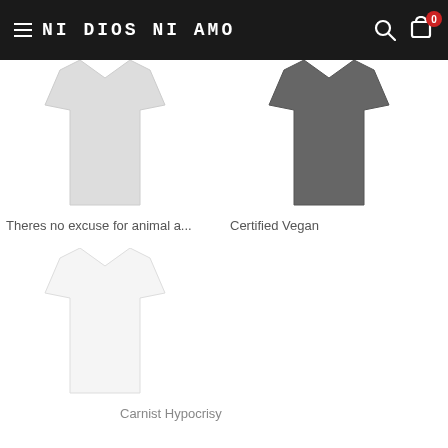NI DIOS NI AMO
[Figure (photo): Light grey t-shirt product image]
Theres no excuse for animal a...
[Figure (photo): Dark grey t-shirt product image]
Certified Vegan
[Figure (photo): White t-shirt product image (bottom left, mostly empty)]
Carnist Hypocrisy